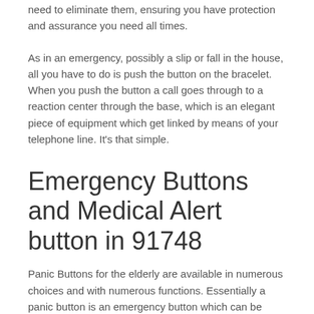need to eliminate them, ensuring you have protection and assurance you need all times.
As in an emergency, possibly a slip or fall in the house, all you have to do is push the button on the bracelet. When you push the button a call goes through to a reaction center through the base, which is an elegant piece of equipment which get linked by means of your telephone line. It's that simple.
Emergency Buttons and Medical Alert button in 91748
Panic Buttons for the elderly are available in numerous choices and with numerous functions. Essentially a panic button is an emergency button which can be pressed in case of an emergency, whether it be a fall, or cardiac arrest. These panic buttons can be used around the neck